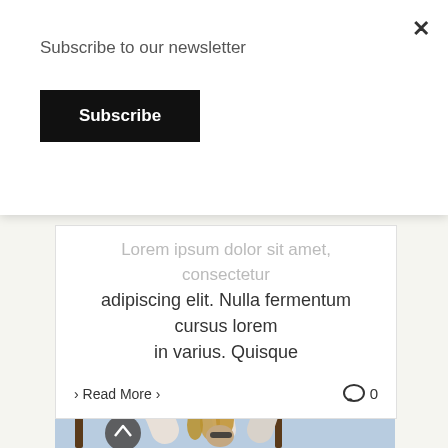Subscribe to our newsletter
Subscribe
Lorem ipsum dolor sit amet, consectetur adipiscing elit. Nulla fermentum cursus lorem in varius. Quisque
› Read More ›
0
[Figure (photo): Men in white shirts clinking beer bottles outdoors under palm trees, viewed from below. A scroll-up arrow button overlays the lower left of the image.]